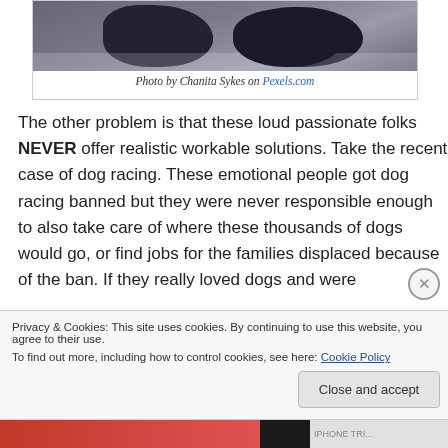[Figure (photo): Photo of horses with dark coloring and harnesses in winter setting]
Photo by Chanita Sykes on Pexels.com
The other problem is that these loud passionate folks NEVER offer realistic workable solutions. Take the recent case of dog racing. These emotional people got dog racing banned but they were never responsible enough to also take care of where these thousands of dogs would go, or find jobs for the families displaced because of the ban. If they really loved dogs and were
Privacy & Cookies: This site uses cookies. By continuing to use this website, you agree to their use.
To find out more, including how to control cookies, see here: Cookie Policy